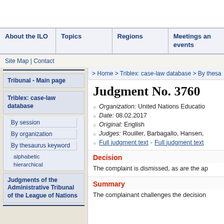About the ILO | Topics | Regions | Meetings and events
Site Map | Contact
> Home > Triblex: case-law database > By thesaurus keyword
Judgment No. 3760
Organization: United Nations Education...
Date: 08.02.2017
Original: English
Judges: Rouiller, Barbagallo, Hansen,
Full judgment text - Full judgment text
Decision
The complaint is dismissed, as are the ap...
Summary
The complainant challenges the decision...